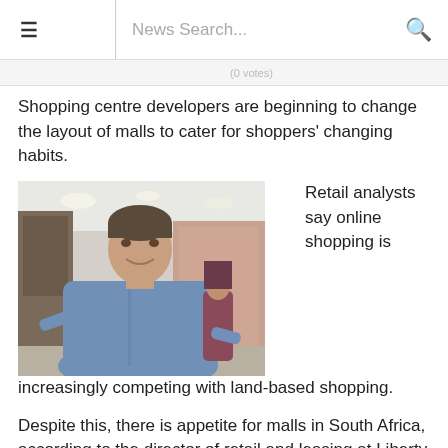≡  News Search...  🔍
Shopping centre developers are beginning to change the layout of malls to cater for shoppers' changing habits.
[Figure (photo): A man in a blue shirt smiling, standing in a shopping mall interior with stores visible in the background.]
Retail analysts say online shopping is increasingly competing with land-based shopping.
Despite this, there is appetite for malls in South Africa, according to the director of retail and leasing at Liberty